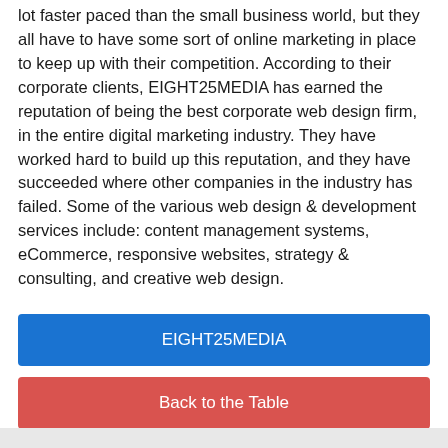lot faster paced than the small business world, but they all have to have some sort of online marketing in place to keep up with their competition. According to their corporate clients, EIGHT25MEDIA has earned the reputation of being the best corporate web design firm, in the entire digital marketing industry. They have worked hard to build up this reputation, and they have succeeded where other companies in the industry has failed. Some of the various web design & development services include: content management systems, eCommerce, responsive websites, strategy & consulting, and creative web design.
EIGHT25MEDIA
Back to the Table